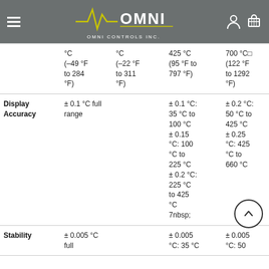OMNI CONTROLS INC.
|  |  | °C (−49 °F to 284 °F) | °C (−22 °F to 311 °F) | 425 °C (95 °F to 797 °F) | 700 °C□ (122 °F to 1292 °F) |
| --- | --- | --- | --- | --- | --- |
| Display Accuracy | ± 0.1 °C full range | ± 0.1 °C: 35 °C to 100 °C ± 0.15 °C: 100 °C to 225 °C ± 0.2 °C: 225 °C to 425 °C 7nbsp; | ± 0.2 °C: 50 °C to 425 °C ± 0.25 °C: 425 °C to 660 °C |
| Stability | ± 0.005 °C full | ± 0.005 °C: 35 °C | ± 0.005 °C: 50 °C |